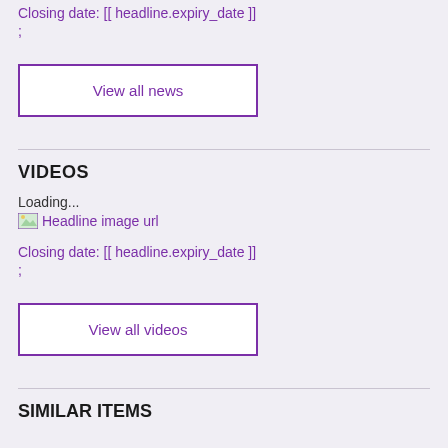Closing date: [[ headline.expiry_date ]]
;
View all news
VIDEOS
Loading...
[Figure (illustration): Headline image url placeholder with small image icon]
Closing date: [[ headline.expiry_date ]]
;
View all videos
SIMILAR ITEMS